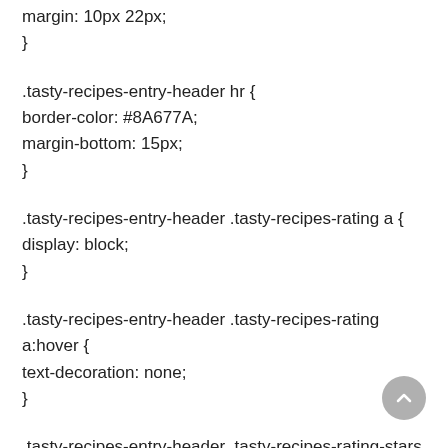margin: 10px 22px;
}
.tasty-recipes-entry-header hr {
border-color: #8A677A;
margin-bottom: 15px;
}
.tasty-recipes-entry-header .tasty-recipes-rating a {
display: block;
}
.tasty-recipes-entry-header .tasty-recipes-rating a:hover {
text-decoration: none;
}
.tasty-recipes-entry-header .tasty-recipes-rating-stars {
font-size: 22px;